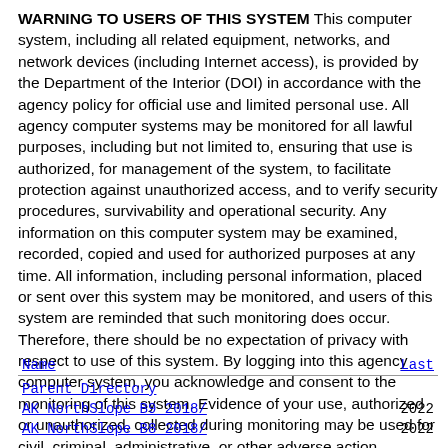WARNING TO USERS OF THIS SYSTEM This computer system, including all related equipment, networks, and network devices (including Internet access), is provided by the Department of the Interior (DOI) in accordance with the agency policy for official use and limited personal use. All agency computer systems may be monitored for all lawful purposes, including but not limited to, ensuring that use is authorized, for management of the system, to facilitate protection against unauthorized access, and to verify security procedures, survivability and operational security. Any information on this computer system may be examined, recorded, copied and used for authorized purposes at any time. All information, including personal information, placed or sent over this system may be monitored, and users of this system are reminded that such monitoring does occur. Therefore, there should be no expectation of privacy with respect to use of this system. By logging into this agency computer system, you acknowledge and consent to the monitoring of this system. Evidence of your use, authorized or unauthorized, collected during monitoring may be used for civil, criminal, administrative, or other adverse action. Unauthorized or illegal use may subject you to prosecution.
| Name | Last |
| --- | --- |
| Parent Directory |  |
| AK NorthSlope B9 2018/ | 2022 |
| AK NorthSlope B8 2018/ | 2022 |